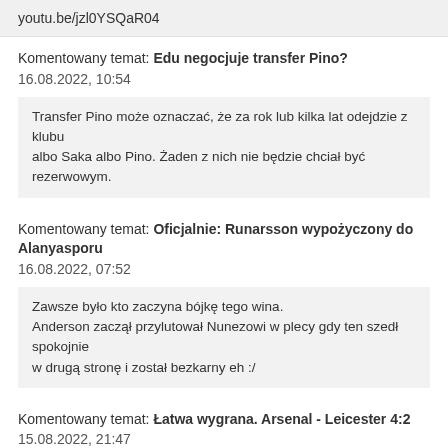youtu.be/jzl0YSQaR04
Komentowany temat: Edu negocjuje transfer Pino?
16.08.2022, 10:54
Transfer Pino może oznaczać, że za rok lub kilka lat odejdzie z klubu albo Saka albo Pino. Żaden z nich nie będzie chciał być rezerwowym.
Komentowany temat: Oficjalnie: Runarsson wypożyczony do Alanyasporu
16.08.2022, 07:52
Zawsze było kto zaczyna bójkę tego wina.
Anderson zaczął przylutował Nunezowi w plecy gdy ten szedł spokojnie w drugą stronę i został bezkarny eh :/
Komentowany temat: Łatwa wygrana. Arsenal - Leicester 4:2
15.08.2022, 21:47